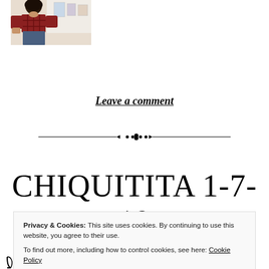[Figure (photo): Partial view of a person in a plaid shirt and jeans, standing near a wall with artwork]
Leave a comment
[Figure (illustration): Decorative horizontal divider with ornamental dots/bullets in the center]
CHIQUITITA 1-7-19
Privacy & Cookies: This site uses cookies. By continuing to use this website, you agree to their use.
To find out more, including how to control cookies, see here: Cookie Policy
Close and accept
ABBA I...